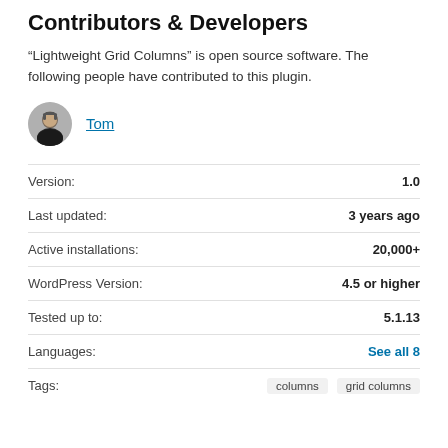Contributors & Developers
“Lightweight Grid Columns” is open source software. The following people have contributed to this plugin.
Tom (contributor link)
| Label | Value |
| --- | --- |
| Version: | 1.0 |
| Last updated: | 3 years ago |
| Active installations: | 20,000+ |
| WordPress Version: | 4.5 or higher |
| Tested up to: | 5.1.13 |
| Languages: | See all 8 |
| Tags: | columns  grid columns |